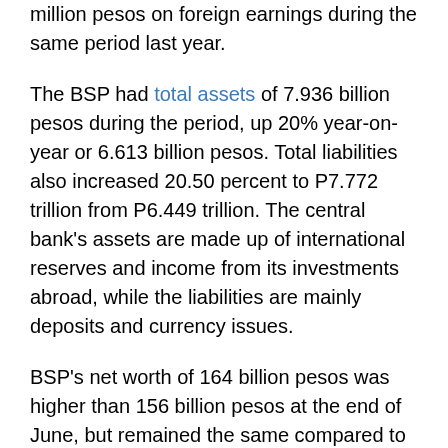million pesos on foreign earnings during the same period last year.
The BSP had total assets of 7.936 billion pesos during the period, up 20% year-on-year or 6.613 billion pesos. Total liabilities also increased 20.50 percent to P7.772 trillion from P6.449 trillion. The central bank's assets are made up of international reserves and income from its investments abroad, while the liabilities are mainly deposits and currency issues.
BSP's net worth of 164 billion pesos was higher than 156 billion pesos at the end of June, but remained the same compared to the end of June 2020, which was also 164 billion pesos.
The capital of the BSP remains at 50 billion